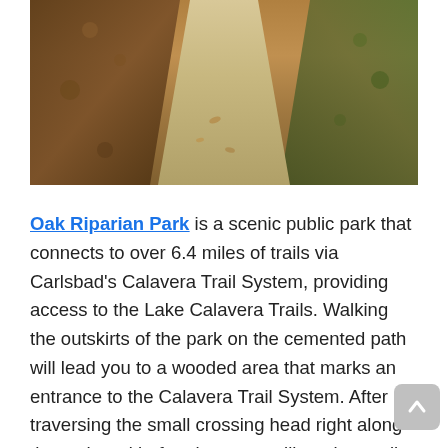[Figure (photo): A dirt trail path through a park with autumn foliage and dry leaves on either side, viewed from a slightly elevated perspective looking straight ahead down the path.]
Oak Riparian Park is a scenic public park that connects to over 6.4 miles of trails via Carlsbad's Calavera Trail System, providing access to the Lake Calavera Trails. Walking the outskirts of the park on the cemented path will lead you to a wooded area that marks an entrance to the Calavera Trail System. After traversing the small crossing head right along the path and before long you will run into trail head signs. Continue on the path and enjoy a pleasant roughly 1.4 mile hike to reach Lake Calavera. Dogs on leash are welcome, as are mountain bikes. The main trail has numerous smaller trails that spider off in several